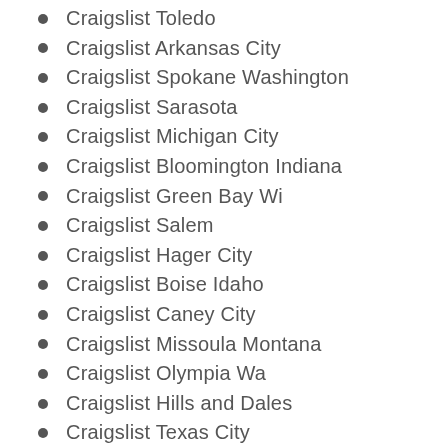Craigslist Toledo
Craigslist Arkansas City
Craigslist Spokane Washington
Craigslist Sarasota
Craigslist Michigan City
Craigslist Bloomington Indiana
Craigslist Green Bay Wi
Craigslist Salem
Craigslist Hager City
Craigslist Boise Idaho
Craigslist Caney City
Craigslist Missoula Montana
Craigslist Olympia Wa
Craigslist Hills and Dales
Craigslist Texas City